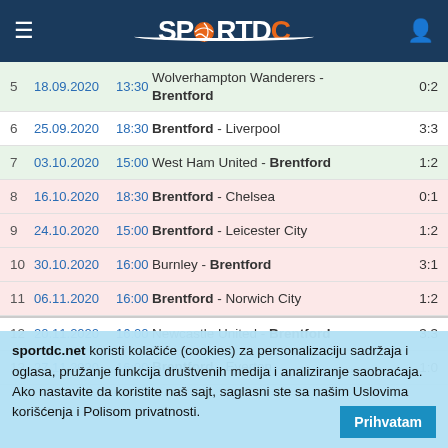SPORTDC
| # | Date | Time | Match | Score |
| --- | --- | --- | --- | --- |
| 5 | 18.09.2020 | 13:30 | Wolverhampton Wanderers - Brentford | 0:2 |
| 6 | 25.09.2020 | 18:30 | Brentford - Liverpool | 3:3 |
| 7 | 03.10.2020 | 15:00 | West Ham United - Brentford | 1:2 |
| 8 | 16.10.2020 | 18:30 | Brentford - Chelsea | 0:1 |
| 9 | 24.10.2020 | 15:00 | Brentford - Leicester City | 1:2 |
| 10 | 30.10.2020 | 16:00 | Burnley - Brentford | 3:1 |
| 11 | 06.11.2020 | 16:00 | Brentford - Norwich City | 1:2 |
| 12 | 20.11.2020 | 16:00 | Newcastle United - Brentford | 3:3 |
| 13 | 27.11.2020 | 16:00 | Brentford - Everton | 1:0 |
sportdc.net koristi kolačiće (cookies) za personalizaciju sadržaja i oglasa, pružanje funkcija društvenih medija i analiziranje saobraćaja. Ako nastavite da koristite naš sajt, saglasni ste sa našim Uslovima korišćenja i Polisom privatnosti.